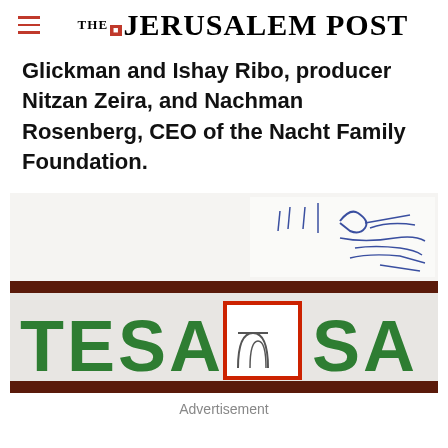THE JERUSALEM POST
Glickman and Ishay Ribo, producer Nitzan Zeira, and Nachman Rosenberg, CEO of the Nacht Family Foundation.
[Figure (photo): Close-up photo of a bank sign showing 'TESA' and 'SA' in green letters with a red-bordered logo, with handwritten blue ink notes visible at the top.]
Advertisement